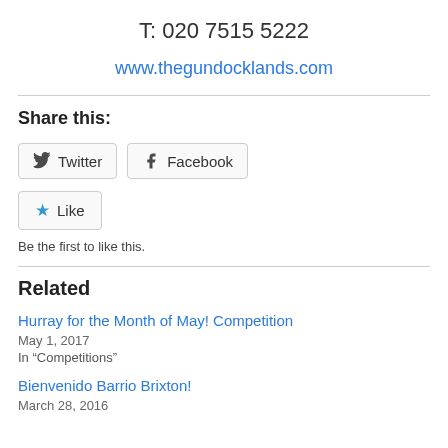T: 020 7515 5222
www.thegundocklands.com
Share this:
Twitter
Facebook
Like
Be the first to like this.
Related
Hurray for the Month of May! Competition
May 1, 2017
In "Competitions"
Bienvenido Barrio Brixton!
March 28, 2016